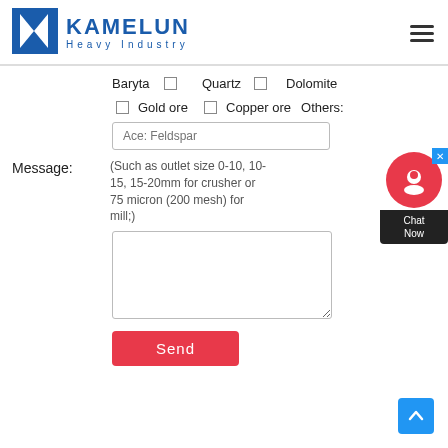[Figure (logo): Kamelun Heavy Industry logo with blue K icon and blue text]
Baryta  □  Quartz  □  Dolomite
□ Gold ore  □ Copper ore  Others:
Ace: Feldspar
Message:
(Such as outlet size 0-10, 10-15, 15-20mm for crusher or 75 micron (200 mesh) for mill;)
Send